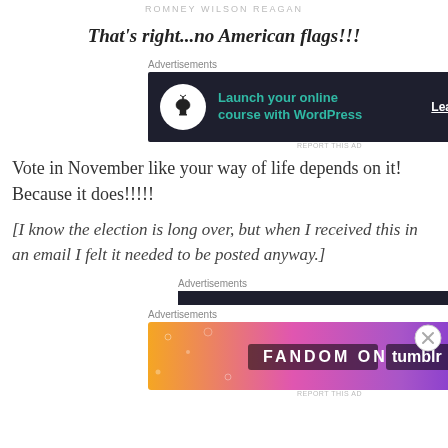ROMNEY WILSON REAGAN
That's right...no American flags!!!
[Figure (screenshot): Advertisement banner: dark background with tree/bonsai icon, teal text 'Launch your online course with WordPress', white 'Learn More' button]
Vote in November like your way of life depends on it! Because it does!!!!!
[I know the election is long over, but when I received this in an email I felt it needed to be posted anyway.]
[Figure (screenshot): Advertisements section with dark bar and FANDOM ON tumblr colorful banner advertisement]